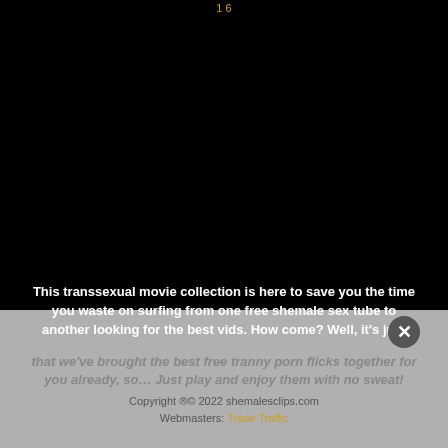1 6
[Figure (other): Large black area filling most of the upper portion of the page]
This transsexual movie collection is here to save you the time you waste on surfing from one free shemale sex tube to another looking for the best vids. How come? Well, it's just that we've brought the best free tranny porn flicks together for you already, so… Just play and enjoy them with no sweat!
Copyright ®© 2022 shemalesclips.com Webmasters: Trade Traffic